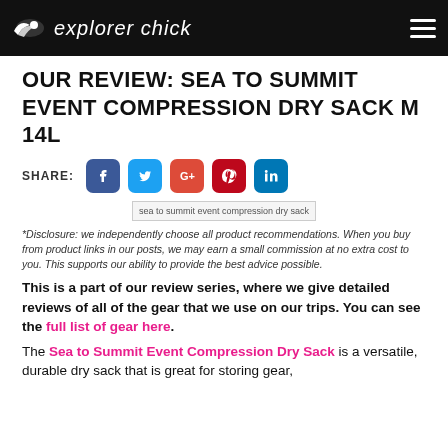explorer chick
OUR REVIEW: SEA TO SUMMIT EVENT COMPRESSION DRY SACK M 14L
SHARE:
[Figure (screenshot): Social share icons: Facebook, Twitter, Google+, Pinterest, LinkedIn]
[Figure (photo): sea to summit event compression dry sack]
*Disclosure: we independently choose all product recommendations. When you buy from product links in our posts, we may earn a small commission at no extra cost to you. This supports our ability to provide the best advice possible.
This is a part of our review series, where we give detailed reviews of all of the gear that we use on our trips. You can see the full list of gear here.
The Sea to Summit Event Compression Dry Sack is a versatile, durable dry sack that is great for storing gear,